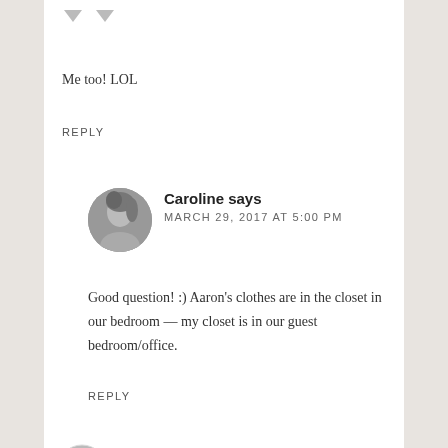[Figure (other): Two downward pointing triangle/arrow icons for voting]
Me too! LOL
REPLY
[Figure (photo): Circular avatar photo of Caroline, black and white]
Caroline says
MARCH 29, 2017 AT 5:00 PM
Good question! :) Aaron's clothes are in the closet in our bedroom — my closet is in our guest bedroom/office.
REPLY
[Figure (other): Partial circular avatar at the bottom of the page]